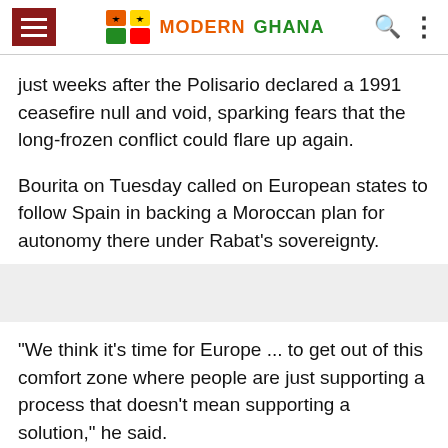MG MODERN GHANA
just weeks after the Polisario declared a 1991 ceasefire null and void, sparking fears that the long-frozen conflict could flare up again.
Bourita on Tuesday called on European states to follow Spain in backing a Moroccan plan for autonomy there under Rabat's sovereignty.
"We think it's time for Europe ... to get out of this comfort zone where people are just supporting a process that doesn't mean supporting a solution," he said.